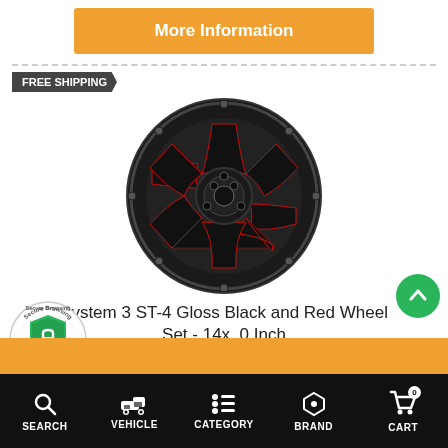More Information
FREE SHIPPING
[Figure (photo): System 3 ST-4 Gloss Black and Red aftermarket wheel, front-facing view showing 8-spoke design with red milled accents on black gloss finish with exposed bolts around the rim]
System 3 ST-4 Gloss Black and Red Wheel Set - 14x10 Inch
$698.00 (original price, strikethrough) $569.46 (sale price)
[Figure (logo): Secure Browsing badge with shield and lock icon, dated 9/3/2022]
SEARCH | VEHICLE | CATEGORY | BRAND | CART